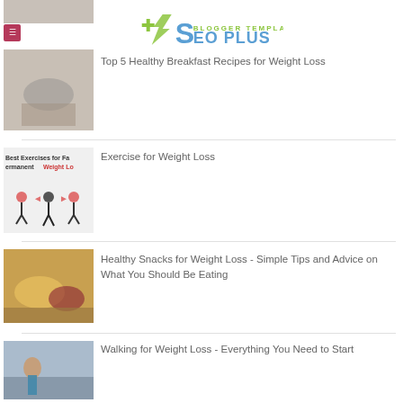[Figure (logo): SEO Plus Blogger Template logo with green lightning bolt and S letter icon]
Top 5 Healthy Breakfast Recipes for Weight Loss
[Figure (photo): Person holding a smoothie cup, weight loss theme]
Best Exercises for Fast Permanent Weight Loss
Exercise for Weight Loss
[Figure (photo): Exercise for weight loss illustration showing before and after body figures with arrows]
Healthy Snacks for Weight Loss - Simple Tips and Advice on What You Should Be Eating
[Figure (photo): Fruits and healthy snacks on a cutting board]
Walking for Weight Loss - Everything You Need to Start
[Figure (photo): Woman in athletic wear walking outdoors on a bridge]